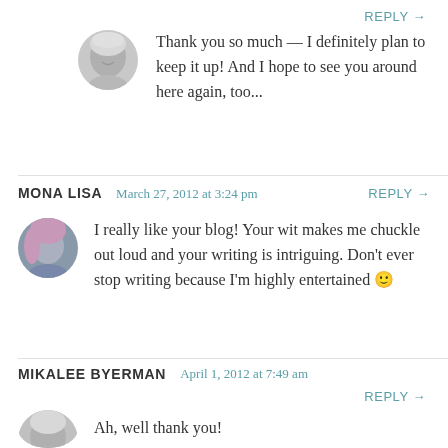REPLY →
[Figure (photo): Circular avatar photo of a blonde woman smiling, grayscale]
Thank you so much — I definitely plan to keep it up! And I hope to see you around here again, too...
MONA LISA    March 27, 2012 at 3:24 pm    REPLY →
[Figure (photo): Circular avatar photo of a person with pink/purple hair]
I really like your blog! Your wit makes me chuckle out loud and your writing is intriguing. Don't ever stop writing because I'm highly entertained 🙂
MIKALEE BYERMAN    April 1, 2012 at 7:49 am    REPLY →
[Figure (photo): Circular avatar photo, partially visible at bottom]
Ah, well thank you!